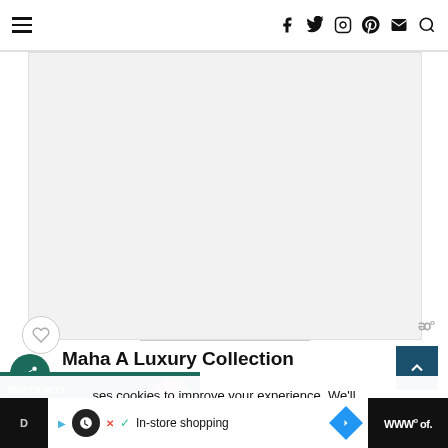Navigation bar with hamburger menu, social icons (Facebook, Twitter, Instagram, Pinterest, Email) and Search
[Figure (photo): Large blank/white image placeholder area for article featured image]
Maha A Luxury Collection
uses cookies to improve your experience. We'll assume you're ok with this, but you can opt-out if you wish.
Accept  Learn More
In-store shopping — D... ...lists of...